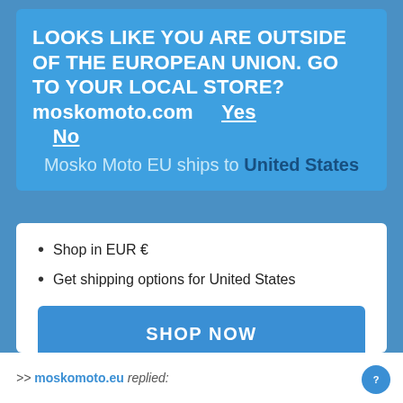LOOKS LIKE YOU ARE OUTSIDE OF THE EUROPEAN UNION. GO TO YOUR LOCAL STORE? moskomoto.com    Yes
  No
Mosko Moto EU ships to United States
Shop in EUR €
Get shipping options for United States
SHOP NOW
CHANGE SHIPPING COUNTRY
>> moskomoto.eu replied: